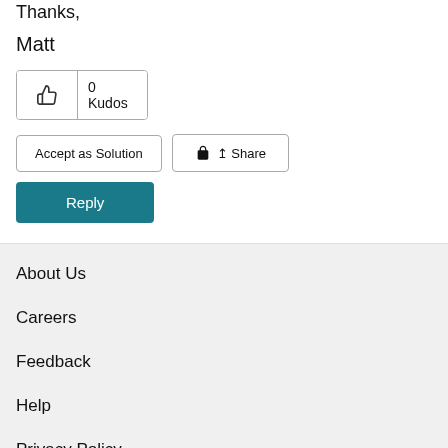Matt
0 Kudos
Accept as Solution
Share
Reply
About Us
Careers
Feedback
Help
Privacy Policy